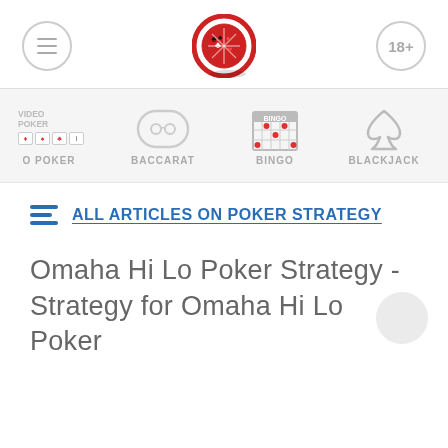Menu | Logo | 18+
[Figure (screenshot): Navigation strip showing game categories: Video Poker, Baccarat, Bingo, Blackjack with icons]
ALL ARTICLES ON POKER STRATEGY
Omaha Hi Lo Poker Strategy - Strategy for Omaha Hi Lo Poker